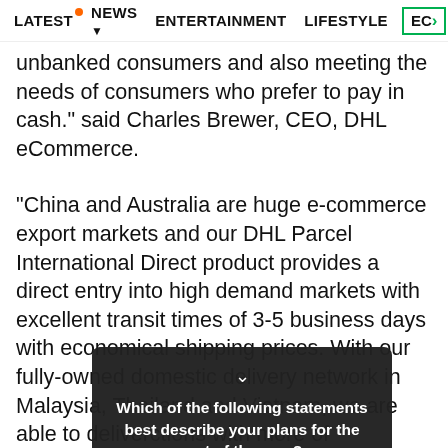LATEST  NEWS  ENTERTAINMENT  LIFESTYLE  EC>
unbanked consumers and also meeting the needs of consumers who prefer to pay in cash." said Charles Brewer, CEO, DHL eCommerce.
"China and Australia are huge e-commerce export markets and our DHL Parcel International Direct product provides a direct entry into high demand markets with excellent transit times of 3-5 business days with economical shipping prices. With our fully-owned domestic delivery network in Malaysia, Thailand and Vietnam, we are able to deliverctions with more of our cash-on-delivery
To ena                                                                               ap on the cr                                                                            DHL